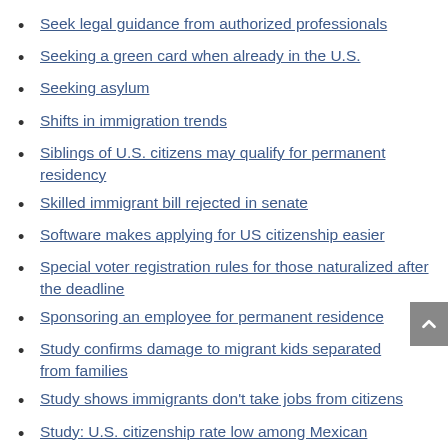Seek legal guidance from authorized professionals
Seeking a green card when already in the U.S.
Seeking asylum
Shifts in immigration trends
Siblings of U.S. citizens may qualify for permanent residency
Skilled immigrant bill rejected in senate
Software makes applying for US citizenship easier
Special voter registration rules for those naturalized after the deadline
Sponsoring an employee for permanent residence
Study confirms damage to migrant kids separated from families
Study shows immigrants don't take jobs from citizens
Study: U.S. citizenship rate low among Mexican immigrants